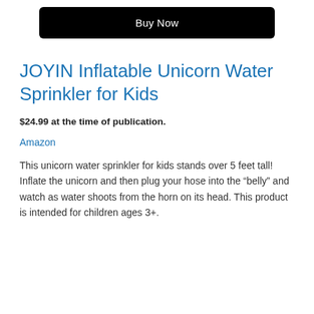[Figure (other): Black 'Buy Now' button]
JOYIN Inflatable Unicorn Water Sprinkler for Kids
$24.99 at the time of publication.
Amazon
This unicorn water sprinkler for kids stands over 5 feet tall! Inflate the unicorn and then plug your hose into the “belly” and watch as water shoots from the horn on its head. This product is intended for children ages 3+.